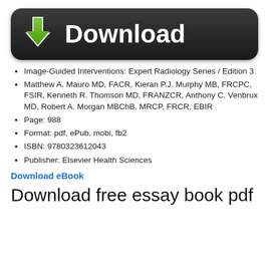[Figure (other): Download button with green downward arrow icon and white 'Download' text on dark rounded rectangle background]
Image-Guided Interventions: Expert Radiology Series / Edition 3
Matthew A. Mauro MD, FACR, Kieran P.J. Murphy MB, FRCPC, FSIR, Kenneth R. Thomson MD, FRANZCR, Anthony C. Venbrux MD, Robert A. Morgan MBChB, MRCP, FRCR, EBIR
Page: 988
Format: pdf, ePub, mobi, fb2
ISBN: 9780323612043
Publisher: Elsevier Health Sciences
Download eBook
Download free essay book pdf